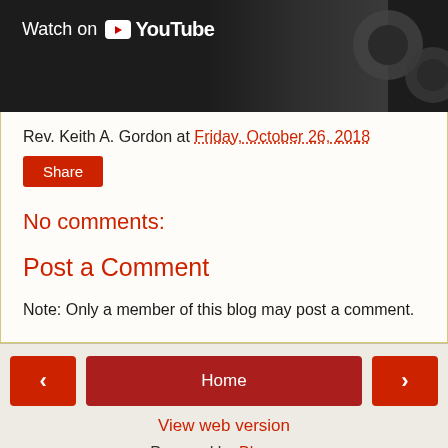[Figure (screenshot): YouTube video thumbnail with 'Watch on YouTube' overlay text and play button icon on dark background]
Rev. Keith A. Gordon at Friday, October 26, 2018
Share
No comments:
Post a Comment
Note: Only a member of this blog may post a comment.
< Home > View web version Powered by Blogger.